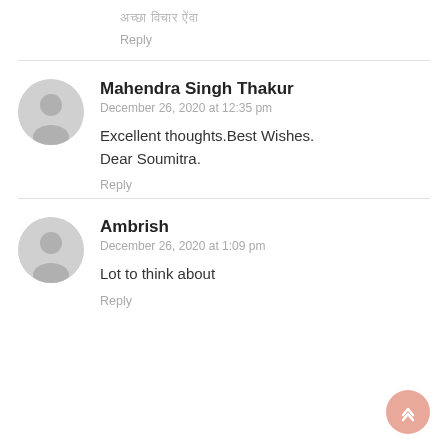हिंदी स्क्रिप्ट टेक्स्ट
Reply
Mahendra Singh Thakur
December 26, 2020 at 12:35 pm
Excellent thoughts.Best Wishes. Dear Soumitra.
Reply
Ambrish
December 26, 2020 at 1:09 pm
Lot to think about
Reply